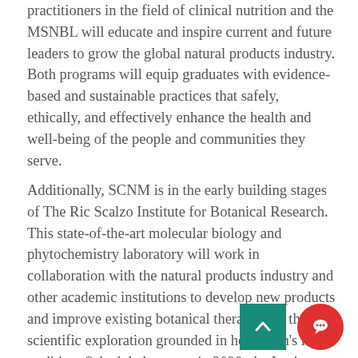practitioners in the field of clinical nutrition and the MSNBL will educate and inspire current and future leaders to grow the global natural products industry. Both programs will equip graduates with evidence-based and sustainable practices that safely, ethically, and effectively enhance the health and well-being of the people and communities they serve.
Additionally, SCNM is in the early building stages of The Ric Scalzo Institute for Botanical Research. This state-of-the-art molecular biology and phytochemistry laboratory will work in collaboration with the natural products industry and other academic institutions to develop new products and improve existing botanical therapeutics through scientific exploration grounded in herbalism's rich tradition. Scheduled to open in 2020, the Institute will conduct analytical testing, cellular and molecular biology assays, and metabolomic t... Furthermore, the Ric Scalzo Institute for Botanica... will expand research opportunities for students.